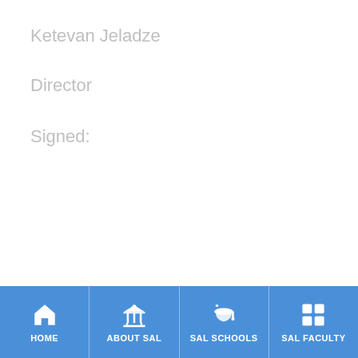Ketevan Jeladze
Director
Signed:
HOME | ABOUT SAL | SAL SCHOOLS | SAL FACULTY